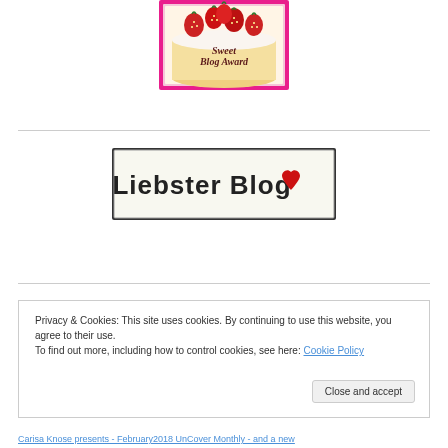[Figure (illustration): Sweet Blog Award badge with strawberry cake image and pink border, text reads 'Sweet Blog Award']
[Figure (illustration): Liebster Blog award badge - rectangular white/grunge style with text 'Liebster Blog' and a red heart icon]
Privacy & Cookies: This site uses cookies. By continuing to use this website, you agree to their use.
To find out more, including how to control cookies, see here: Cookie Policy
Close and accept
Carisa Knose presents - February2018 UnCover Monthly - and a new